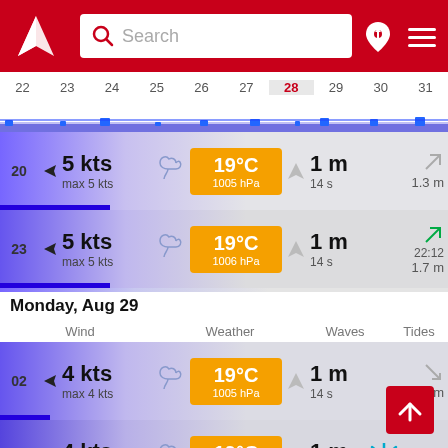[Figure (screenshot): Mobile weather/marine app header with red background, Windy logo, search bar, pin and menu icons]
22 23 24 25 26 27 28 29 30 31
[Figure (other): Wave height chart strip showing small blue wave bars over the date range]
20 ► 5 kts max 5 kts 🌙 19°C 1005 hPa 1 m 14 s ↗ 1.3 m
23 ► 5 kts max 5 kts 🌙 19°C 1006 hPa 1 m 14 s ↗ 22:12 1.7 m
Monday, Aug 29
Wind  Weather  Waves  Tides
02 ► 4 kts max 4 kts 🌙 19°C 1005 hPa 1 m 14 s ↘ 0.7 m
05 ► 4 kts max 4 kts 🌙 19°C 1005 hPa 1 m 13 s ↓ 9